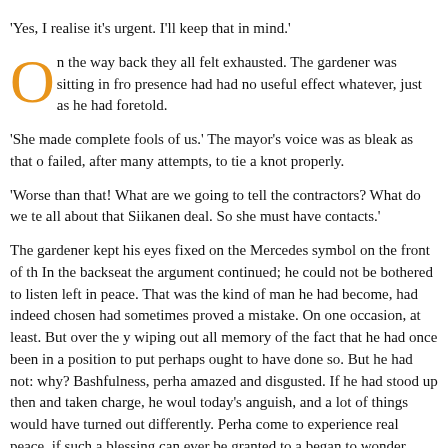'Yes, I realise it's urgent. I'll keep that in mind.'
On the way back they all felt exhausted. The gardener was sitting in fro presence had had no useful effect whatever, just as he had foretold.
'She made complete fools of us.' The mayor's voice was as bleak as that o failed, after many attempts, to tie a knot properly.
'Worse than that! What are we going to tell the contractors? What do we te all about that Siikanen deal. So she must have contacts.'
The gardener kept his eyes fixed on the Mercedes symbol on the front of th In the backseat the argument continued; he could not be bothered to listen left in peace. That was the kind of man he had become, had indeed chosen had sometimes proved a mistake. On one occasion, at least. But over the y wiping out all memory of the fact that he had once been in a position to put perhaps ought to have done so. But he had not: why? Bashfulness, perha amazed and disgusted. If he had stood up then and taken charge, he woul today's anguish, and a lot of things would have turned out differently. Perha come to experience real peace, if such a blessing can ever be granted to a began to wonder, idly, how his bay-trees were doing. The leaves would soc Independence Day celebrations. They'd be wanting other things too, perha the car slowed down at a crossroads, he felt a tap on his shoulder.